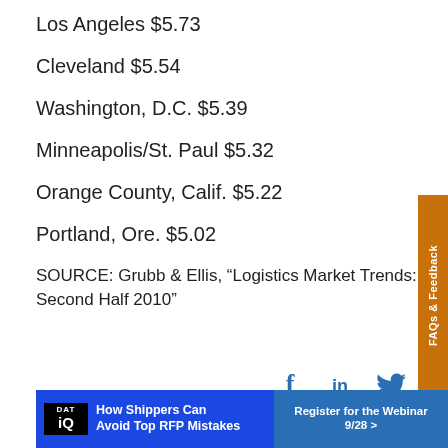Los Angeles $5.73
Cleveland $5.54
Washington, D.C. $5.39
Minneapolis/St. Paul $5.32
Orange County, Calif. $5.22
Portland, Ore. $5.02
SOURCE: Grubb & Ellis, “Logistics Market Trends: Second Half 2010”
[Figure (other): Social sharing icons for Facebook, LinkedIn, and Twitter]
[Figure (other): FAQs & Feedback vertical sidebar tab in orange]
[Figure (other): DAT iQ advertisement banner: How Shippers Can Avoid Top RFP Mistakes. Register for the Webinar 9/28.]